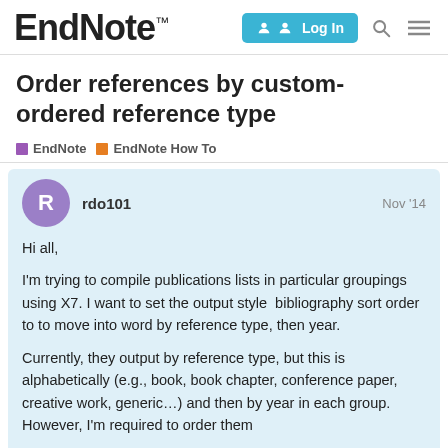EndNote™  Log In
Order references by custom-ordered reference type
EndNote  EndNote How To
rdo101  Nov '14
Hi all,

I'm trying to compile publications lists in particular groupings using X7. I want to set the output style  bibliography sort order to to move into word by reference type, then year.

Currently, they output by reference type, but this is alphabetically (e.g., book, book chapter, conference paper, creative work, generic…) and then by year in each group. However, I'm required to order them (ie. books and editied books, book chapter
1 / 4